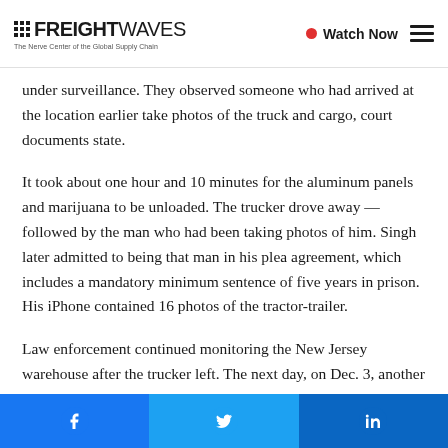FREIGHTWAVES — The Nerve Center of the Global Supply Chain | Watch Now
under surveillance. They observed someone who had arrived at the location earlier take photos of the truck and cargo, court documents state.
It took about one hour and 10 minutes for the aluminum panels and marijuana to be unloaded. The trucker drove away — followed by the man who had been taking photos of him. Singh later admitted to being that man in his plea agreement, which includes a mandatory minimum sentence of five years in prison. His iPhone contained 16 photos of the tractor-trailer.
Law enforcement continued monitoring the New Jersey warehouse after the trucker left. The next day, on Dec. 3, another truck picked up the aluminum panels and delivered
Facebook | Twitter | LinkedIn